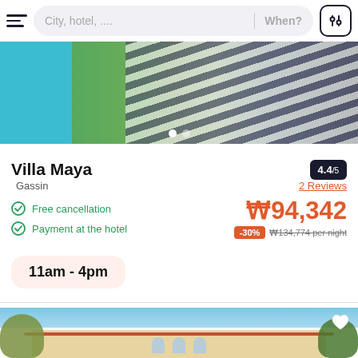City, hotel, ...  When?
[Figure (photo): Hotel pool area with striped loungers and green grass]
Villa Maya
Gassin
4.4/5
2 Reviews
Free cancellation
Payment at the hotel
₩94,342
-30%  ₩134,774 per night
11am - 4pm
[Figure (photo): Exterior of Villa Maya hotel building with trees and blue sky]